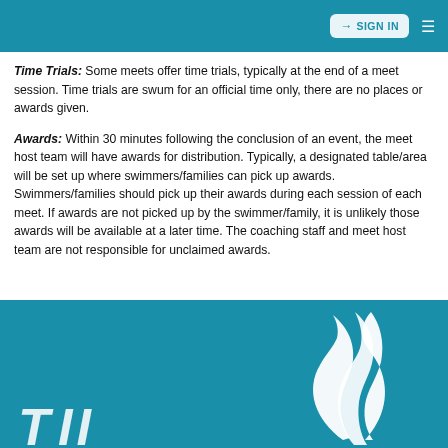SIGN IN
Time Trials: Some meets offer time trials, typically at the end of a meet session. Time trials are swum for an official time only, there are no places or awards given.
Awards: Within 30 minutes following the conclusion of an event, the meet host team will have awards for distribution. Typically, a designated table/area will be set up where swimmers/families can pick up awards. Swimmers/families should pick up their awards during each session of each meet. If awards are not picked up by the swimmer/family, it is unlikely those awards will be available at a later time. The coaching staff and meet host team are not responsible for unclaimed awards.
[Figure (logo): White flame/wave logo on teal background with partial italic text at bottom left]